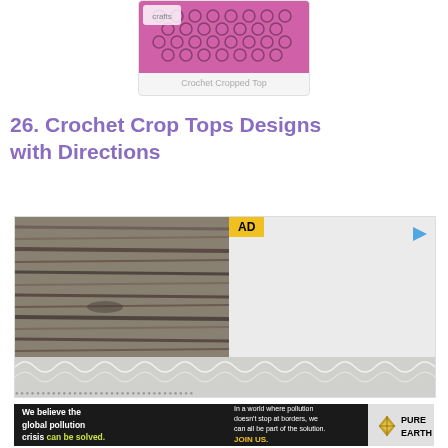[Figure (photo): Pink crochet cropped top garment photo in a card]
Crochet Cropped Top
26. Crochet Crop Tops Designs with Directions
[Figure (screenshot): Advertisement video player showing wood background and crochet lace at bottom, with AD badge and play button]
[Figure (photo): Pure Earth banner advertisement: We believe the global pollution crisis can be solved. In a world where pollution doesn't stop at borders, we can all be part of the solution. JOIN US. Pure Earth logo.]